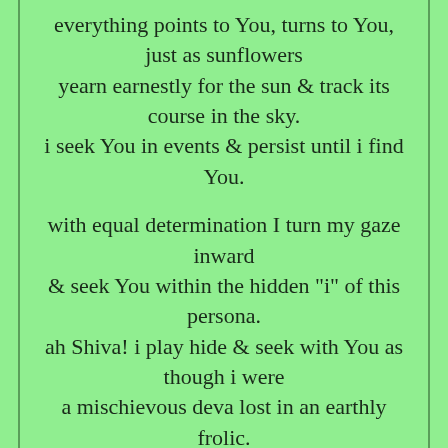everything points to You, turns to You, just as sunflowers yearn earnestly for the sun & track its course in the sky. i seek You in events & persist until i find You.
with equal determination I turn my gaze inward & seek You within the hidden "i" of this persona. ah Shiva! i play hide & seek with You as though i were a mischievous deva lost in an earthly frolic.
i stand behind these many words i write for You, meaning well, just like the dawn bird who sings so joyously, or the tall sunflower lifting its face up to